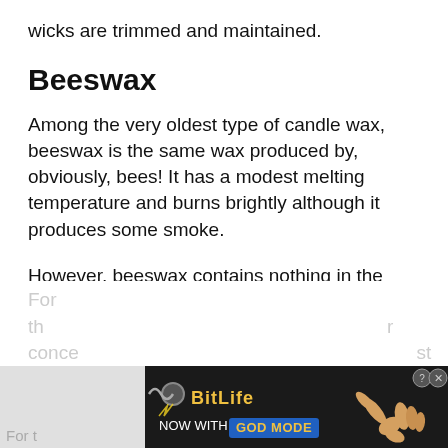wicks are trimmed and maintained.
Beeswax
Among the very oldest type of candle wax, beeswax is the same wax produced by, obviously, bees! It has a modest melting temperature and burns brightly although it produces some smoke.
However, beeswax contains nothing in the way of chemical additives or stabilizers unless specifically adulterated by the manufacturer and is also possessed of a pleasant, entirely natural smell.
[Figure (screenshot): Advertisement banner for BitLife game: 'NOW WITH GOD MODE' with dark background, yellow/gold text, lightning bolt graphic, and pointing hand illustration. Includes close button with ? and X icons.]
For th...  conce...